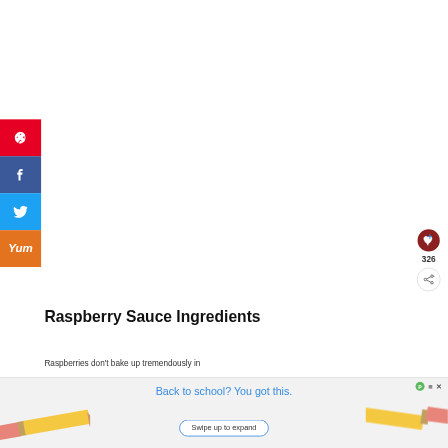[Figure (infographic): Social media share buttons sidebar: Pinterest (red), Facebook (dark blue), Twitter (light blue), Yummly (orange)]
[Figure (infographic): Right side action buttons: heart/save button (dark red circle), count 326, share button]
Raspberry Sauce Ingredients
Raspberries don't bake up tremendously in
[Figure (infographic): Advertisement banner at bottom: pencil eraser left side and pencil right side, text 'Back to school? You got this.' with 'Swipe up to expand' button and close icon]